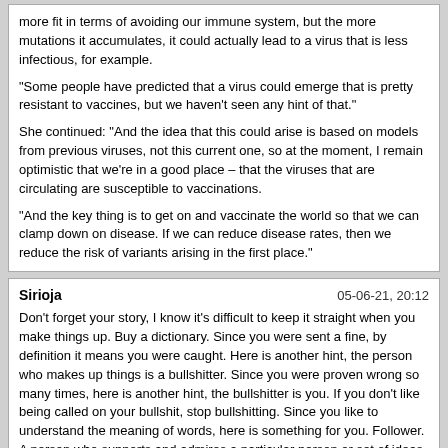more fit in terms of avoiding our immune system, but the more mutations it accumulates, it could actually lead to a virus that is less infectious, for example.

"Some people have predicted that a virus could emerge that is pretty resistant to vaccines, but we haven't seen any hint of that."

She continued: "And the idea that this could arise is based on models from previous viruses, not this current one, so at the moment, I remain optimistic that we're in a good place – that the viruses that are circulating are susceptible to vaccinations.

"And the key thing is to get on and vaccinate the world so that we can clamp down on disease. If we can reduce disease rates, then we reduce the risk of variants arising in the first place."
Sirioja | 05-06-21, 20:12

Don't forget your story, I know it's difficult to keep it straight when you make things up. Buy a dictionary. Since you were sent a fine, by definition it means you were caught. Here is another hint, the person who makes up things is a bullshitter. Since you were proven wrong so many times, here is another hint, the bullshitter is you. If you don't like being called on your bullshit, stop bullshitting. Since you like to understand the meaning of words, here is something for you. Follower. A person who supports and admires a particular person or set of ideas. So, do you understand the meaning of words?When you seem much more performing for bullshitting than being able to understand what you read, once more and you can read again all my writings, only radars photos of my cars, but Swiss never arrested me while overspeeding, so no proof I was the driver, so I m innocent when nobody can prove I was the driver, so I will never pay and same on next times, whatever are your bullshits I don't care about. I don't pay in France, even when I m arrested, and they don't put me in jail, nor in Germany. Switzerland is just little China in the middle of EU, behind green grass. Just for brothels, 40 CHF for vignette, around 60 for 4 valleys skipass from 11 am to extreme free ride for 6 hours and not worthing more for me. I wish you will understand this and you are free to think what you want, but you are not me.